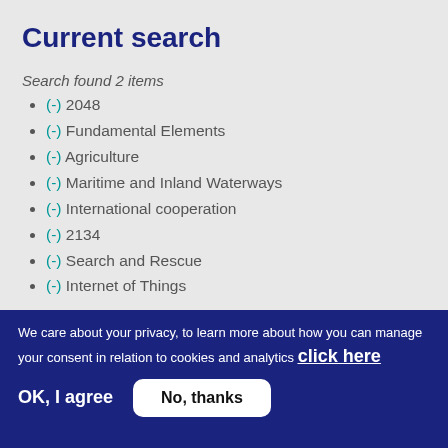Current search
Search found 2 items
(-) 2048
(-) Fundamental Elements
(-) Agriculture
(-) Maritime and Inland Waterways
(-) International cooperation
(-) 2134
(-) Search and Rescue
(-) Internet of Things
We care about your privacy, to learn more about how you can manage your consent in relation to cookies and analytics click here
OK, I agree   No, thanks